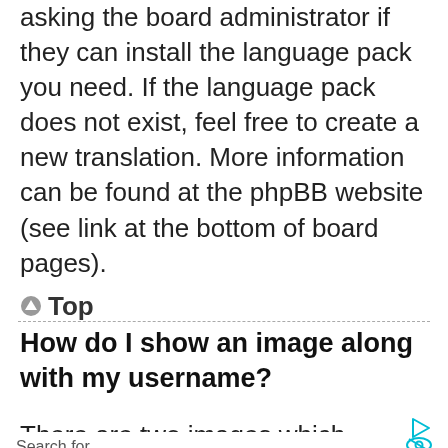asking the board administrator if they can install the language pack you need. If the language pack does not exist, feel free to create a new translation. More information can be found at the phpBB website (see link at the bottom of board pages).
↑ Top
How do I show an image along with my username?
There are two images which
Search for
WALK IN SHOWER FOR ELDERLY →
BEST HEAT PUMPS →